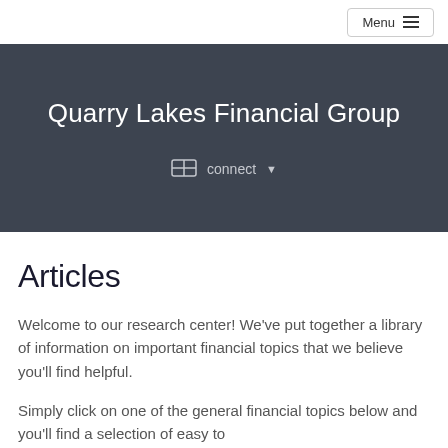Menu
Quarry Lakes Financial Group
connect
Articles
Welcome to our research center! We've put together a library of information on important financial topics that we believe you'll find helpful.
Simply click on one of the general financial topics below and you'll find a selection of easy to